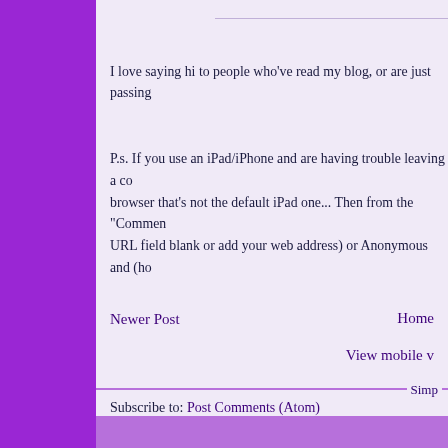I love saying hi to people who've read my blog, or are just passing
P.s. If you use an iPad/iPhone and are having trouble leaving a comment, try using a browser that's not the default iPad one... Then from the "Comment" drop-down... URL field blank or add your web address) or Anonymous and (ho
Newer Post
Home
View mobile v
Subscribe to: Post Comments (Atom)
Simp